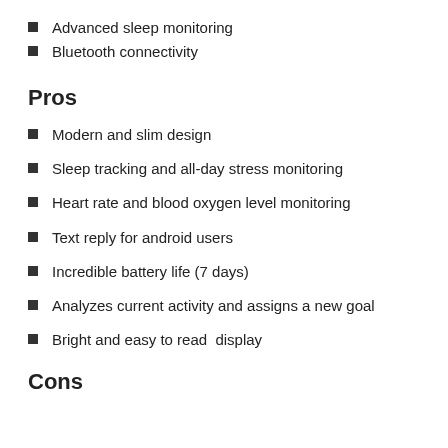Advanced sleep monitoring
Bluetooth connectivity
Pros
Modern and slim design
Sleep tracking and all-day stress monitoring
Heart rate and blood oxygen level monitoring
Text reply for android users
Incredible battery life (7 days)
Analyzes current activity and assigns a new goal
Bright and easy to read  display
Cons